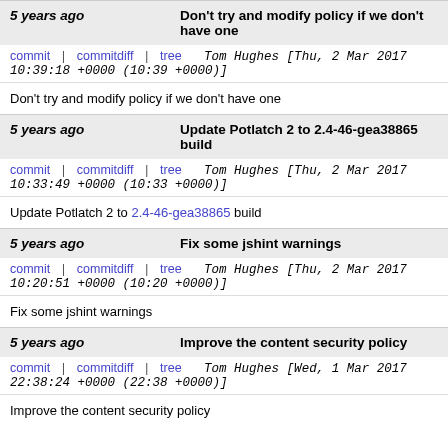5 years ago — Don't try and modify policy if we don't have one
commit | commitdiff | tree   Tom Hughes [Thu, 2 Mar 2017 10:39:18 +0000 (10:39 +0000)]
Don't try and modify policy if we don't have one
5 years ago — Update Potlatch 2 to 2.4-46-gea38865 build
commit | commitdiff | tree   Tom Hughes [Thu, 2 Mar 2017 10:33:49 +0000 (10:33 +0000)]
Update Potlatch 2 to 2.4-46-gea38865 build
5 years ago — Fix some jshint warnings
commit | commitdiff | tree   Tom Hughes [Thu, 2 Mar 2017 10:20:51 +0000 (10:20 +0000)]
Fix some jshint warnings
5 years ago — Improve the content security policy
commit | commitdiff | tree   Tom Hughes [Wed, 1 Mar 2017 22:38:24 +0000 (22:38 +0000)]
Improve the content security policy